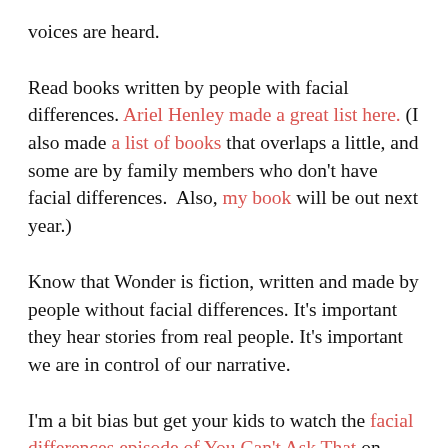voices are heard.
Read books written by people with facial differences. Ariel Henley made a great list here. (I also made a list of books that overlaps a little, and some are by family members who don't have facial differences.  Also, my book will be out next year.)
Know that Wonder is fiction, written and made by people without facial differences. It's important they hear stories from real people. It's important we are in control of our narrative.
I'm a bit bias but get your kids to watch the facial differences episode of You Can't Ask That on iview too. It's us talking about living with facial